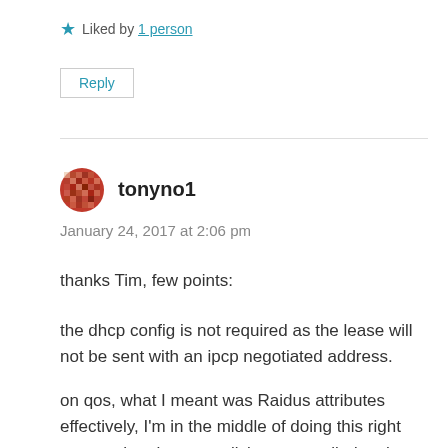★ Liked by 1 person
Reply
tonyno1
January 24, 2017 at 2:06 pm
thanks Tim, few points:
the dhcp config is not required as the lease will not be sent with an ipcp negotiated address.
on qos, what I meant was Raidus attributes effectively, I'm in the middle of doing this right now so that the qos policies are applied to the